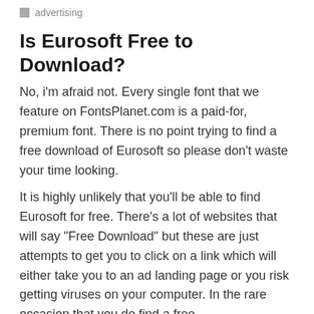advertising
Is Eurosoft Free to Download?
No, i'm afraid not. Every single font that we feature on FontsPlanet.com is a paid-for, premium font. There is no point trying to find a free download of Eurosoft so please don't waste your time looking.
It is highly unlikely that you'll be able to find Eurosoft for free. There's a lot of websites that will say "Free Download" but these are just attempts to get you to click on a link which will either take you to an ad landing page or you risk getting viruses on your computer. In the rare occasion that you do find a free download of Eurosoft, the font is likely to be...